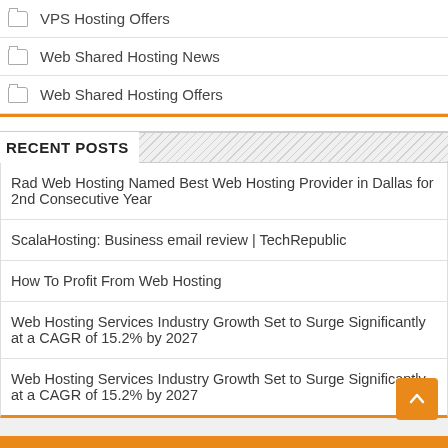VPS Hosting Offers
Web Shared Hosting News
Web Shared Hosting Offers
RECENT POSTS
Rad Web Hosting Named Best Web Hosting Provider in Dallas for 2nd Consecutive Year
ScalaHosting: Business email review | TechRepublic
How To Profit From Web Hosting
Web Hosting Services Industry Growth Set to Surge Significantly at a CAGR of 15.2% by 2027
Web Hosting Services Industry Growth Set to Surge Significantly at a CAGR of 15.2% by 2027